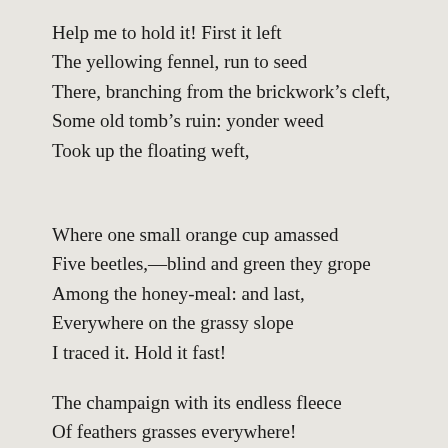Help me to hold it! First it left
The yellowing fennel, run to seed
There, branching from the brickwork’s cleft,
Some old tomb’s ruin: yonder weed
Took up the floating weft,
Where one small orange cup amassed
Five beetles,—blind and green they grope
Among the honey-meal: and last,
Everywhere on the grassy slope
I traced it. Hold it fast!
The champaign with its endless fleece
Of feathers grasses everywhere!